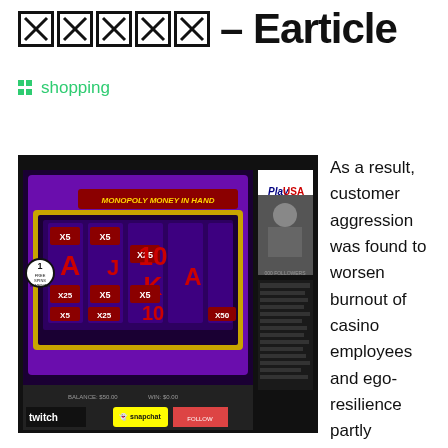XXXXX – Earticle
shopping
[Figure (screenshot): Screenshot of a Twitch stream showing Monopoly Money in Hand slot machine game with PlayUSA branding and streamer webcam, with twitch and Snapchat logos at bottom]
As a result, customer aggression was found to worsen burnout of casino employees and ego-resilience partly